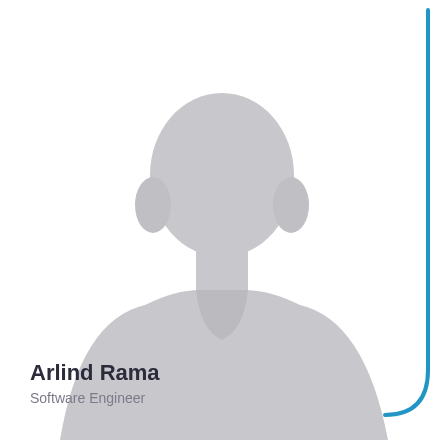[Figure (photo): Generic placeholder silhouette of a person (head and shoulders, gray fill) on white background, with a blue rounded rectangular border accent on the right and bottom-right.]
Arlind Rama
Software Engineer